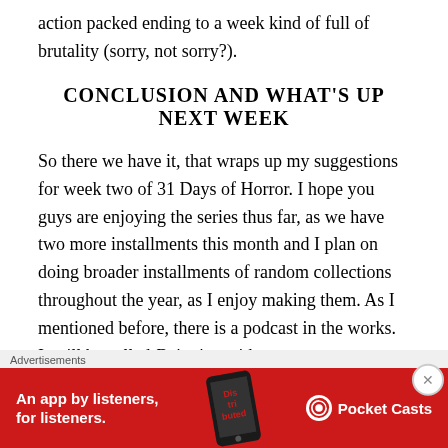action packed ending to a week kind of full of brutality (sorry, not sorry?).
CONCLUSION AND WHAT'S UP NEXT WEEK
So there we have it, that wraps up my suggestions for week two of 31 Days of Horror. I hope you guys are enjoying the series thus far, as we have two more installments this month and I plan on doing broader installments of random collections throughout the year, as I enjoy making them. As I mentioned before, there is a podcast in the works. It will be called Dripping with Relevance and there will be more details out soon as the
Advertisements
[Figure (other): Red advertisement banner for Pocket Casts app: 'An app by listeners, for listeners.' with Pocket Casts logo and phone graphic]